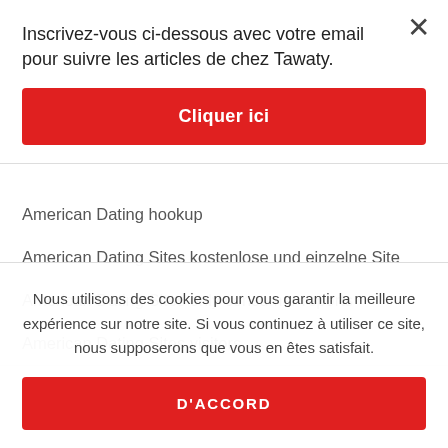Inscrivez-vous ci-dessous avec votre email pour suivre les articles de chez Tawaty.
Cliquer ici
American Dating hookup
American Dating Sites kostenlose und einzelne Site
American Dating Sites only consumer reports
American Dating Sites visitors
Nous utilisons des cookies pour vous garantir la meilleure expérience sur notre site. Si vous continuez à utiliser ce site, nous supposerons que vous en êtes satisfait.
D'ACCORD